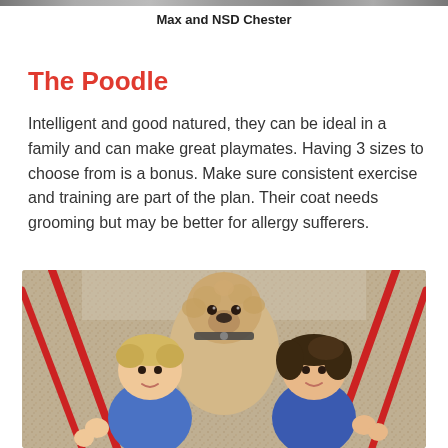[Figure (photo): Top portion of a photo partially visible at the top of the page]
Max and NSD Chester
The Poodle
Intelligent and good natured, they can be ideal in a family and can make great playmates. Having 3 sizes to choose from is a bonus. Make sure consistent exercise and training are part of the plan. Their coat needs grooming but may be better for allergy sufferers.
[Figure (photo): Two children and a poodle (NSD Chester) at a playground, children holding red swing chains, dog wearing a harness collar, outdoor setting with gravel ground]